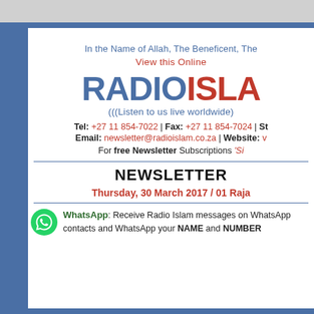In the Name of Allah, The Beneficent, The
View this Online
RADIO ISLA
(((Listen to us live worldwide)
Tel: +27 11 854-7022 | Fax: +27 11 854-7024 | St… Email: newsletter@radioislam.co.za | Website: v…
For free Newsletter Subscriptions 'Si…
NEWSLETTER
Thursday, 30 March 2017 / 01 Raja…
WhatsApp: Receive Radio Islam messages on WhatsApp… contacts and WhatsApp your NAME and NUMBER